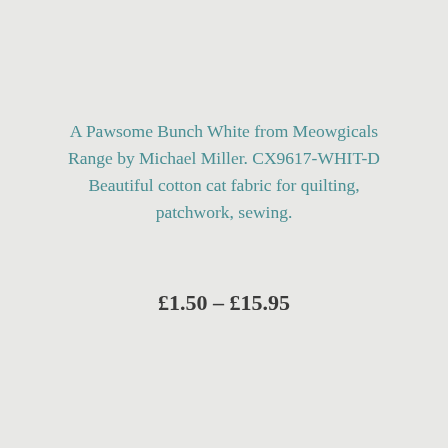A Pawsome Bunch White from Meowgicals Range by Michael Miller. CX9617-WHIT-D Beautiful cotton cat fabric for quilting, patchwork, sewing.
£1.50 – £15.95